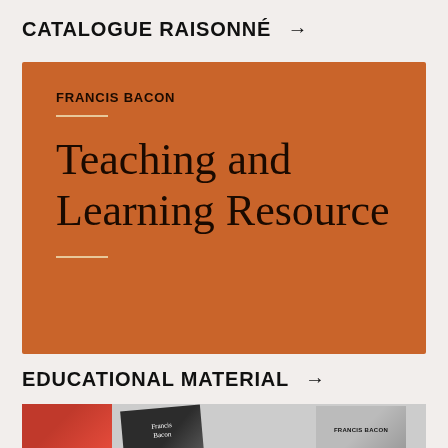CATALOGUE RAISONNÉ →
[Figure (other): Orange card with Francis Bacon Teaching and Learning Resource title block, including decorative divider lines]
EDUCATIONAL MATERIAL →
[Figure (photo): Photo strip showing scattered Francis Bacon books and publications including red cover, black cover labeled 'Francis Bacon', and a grey/white cover labeled 'FRANCIS BACON']